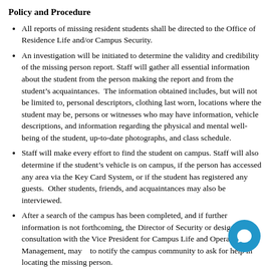Policy and Procedure
All reports of missing resident students shall be directed to the Office of Residence Life and/or Campus Security.
An investigation will be initiated to determine the validity and credibility of the missing person report. Staff will gather all essential information about the student from the person making the report and from the student's acquaintances. The information obtained includes, but will not be limited to, personal descriptors, clothing last worn, locations where the student may be, persons or witnesses who may have information, vehicle descriptions, and information regarding the physical and mental well-being of the student, up-to-date photographs, and class schedule.
Staff will make every effort to find the student on campus. Staff will also determine if the student's vehicle is on campus, if the person has accessed any area via the Key Card System, or if the student has registered any guests. Other students, friends, and acquaintances may also be interviewed.
After a search of the campus has been completed, and if further information is not forthcoming, the Director of Security or designee, in consultation with the Vice President for Campus Life and Operational Management, may choose to notify the campus community to ask for help in locating the missing person.